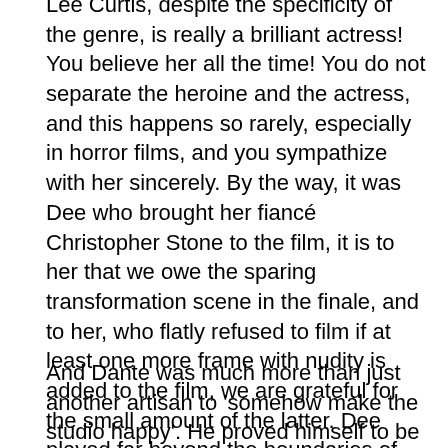Lee Curtis, despite the specificity of the genre, is really a brilliant actress! You believe her all the time! You do not separate the heroine and the actress, and this happens so rarely, especially in horror films, and you sympathize with her sincerely. By the way, it was Dee who brought her fiancé Christopher Stone to the film, it is to her that we owe the sparing transformation scene in the finale, and to her, who flatly refused to film if at least one more frame with nudity is added to the film, we are grateful for the small amount of the latter. Dee played far beyond the boundaries of the genre, performed much better than the level of the film required.
And Dante was much more than just another artisan to 'somehow make the studio happy'. He proved himself to be a dreamer, a seeker of new forms and ideas, a real artist. Therefore, Spielberg was delighted with 'Howl', and this decided Joe's fate - after a few years he was already filming 'Gremlins', which made him truly famous, but he